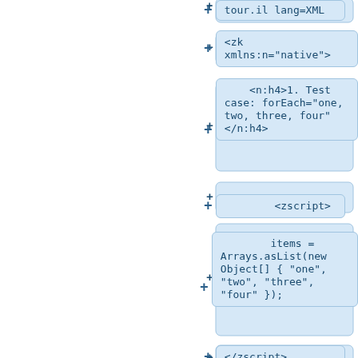[Figure (screenshot): Code block tree diagram showing XML/ZK code nodes with expand (+) buttons. Nodes shown: partial top node (cut off), <zk xmlns:n="native">, <n:h4>1. Test case: forEach="one, two, three, four" </n:h4>, <zscript>, items = Arrays.asList(new Object[] { "one", "two", "three", "four" });, </zscript>, <div style="border:1px solid blue">, <div (partial)]